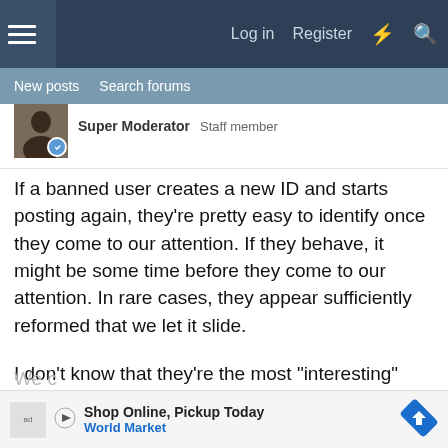Log in  Register
New posts  Search forums
[Figure (photo): User avatar with online indicator badge]
Super Moderator  Staff member
If a banned user creates a new ID and starts posting again, they're pretty easy to identify once they come to our attention. If they behave, it might be some time before they come to our attention. In rare cases, they appear sufficiently reformed that we let it slide.
I don't know that they're the most "interesting" people, but they cause a disproportionate amount of the moderator's time via reported posts. If they get too disruptive of this forum's focus (discussing homebuilt airplanes in accordance with the laws of physics as well as the laws of civil behavior), they're gone.
We c
[Figure (other): Advertisement banner: Shop Online, Pickup Today - World Market]